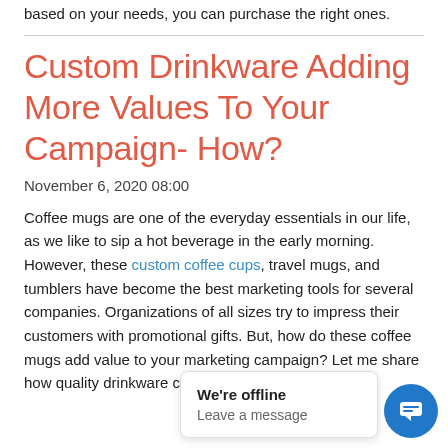based on your needs, you can purchase the right ones.
Custom Drinkware Adding More Values To Your Campaign- How?
November 6, 2020 08:00
Coffee mugs are one of the everyday essentials in our life, as we like to sip a hot beverage in the early morning. However, these custom coffee cups, travel mugs, and tumblers have become the best marketing tools for several companies. Organizations of all sizes try to impress their customers with promotional gifts. But, how do these coffee mugs add value to your marketing campaign? Let me share how quality drinkware can...